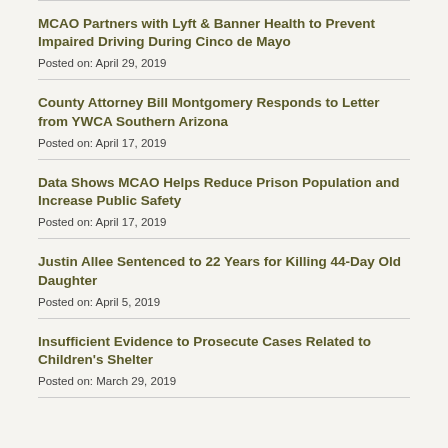MCAO Partners with Lyft & Banner Health to Prevent Impaired Driving During Cinco de Mayo
Posted on: April 29, 2019
County Attorney Bill Montgomery Responds to Letter from YWCA Southern Arizona
Posted on: April 17, 2019
Data Shows MCAO Helps Reduce Prison Population and Increase Public Safety
Posted on: April 17, 2019
Justin Allee Sentenced to 22 Years for Killing 44-Day Old Daughter
Posted on: April 5, 2019
Insufficient Evidence to Prosecute Cases Related to Children's Shelter
Posted on: March 29, 2019